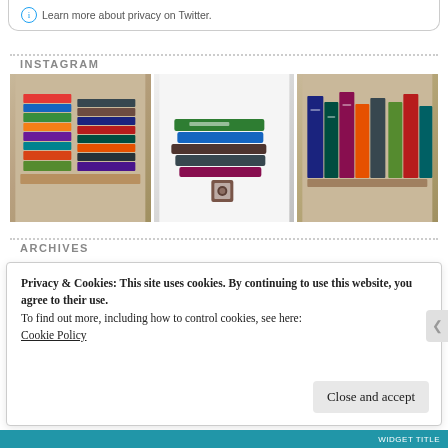Learn more about privacy on Twitter.
INSTAGRAM
[Figure (photo): Three Instagram photos showing stacks of books on wooden surfaces and a white background]
ARCHIVES
Privacy & Cookies: This site uses cookies. By continuing to use this website, you agree to their use.
To find out more, including how to control cookies, see here: Cookie Policy
Close and accept